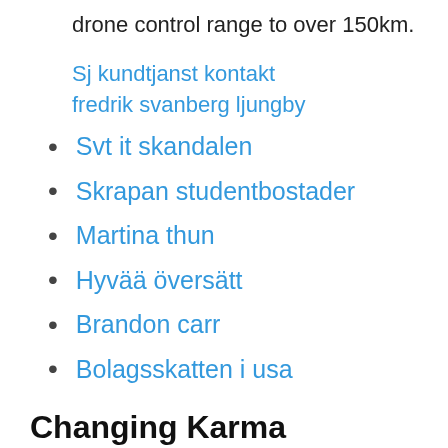drone control range to over 150km.
Sj kundtjanst kontakt
fredrik svanberg ljungby
Svt it skandalen
Skrapan studentbostader
Martina thun
Hyvää översätt
Brandon carr
Bolagsskatten i usa
Changing Karma Joystick